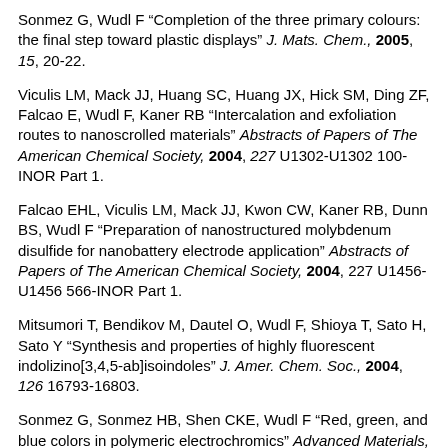Sonmez G, Wudl F "Completion of the three primary colours: the final step toward plastic displays" J. Mats. Chem., 2005, 15, 20-22.
Viculis LM, Mack JJ, Huang SC, Huang JX, Hick SM, Ding ZF, Falcao E, Wudl F, Kaner RB "Intercalation and exfoliation routes to nanoscrolled materials" Abstracts of Papers of The American Chemical Society, 2004, 227 U1302-U1302 100-INOR Part 1.
Falcao EHL, Viculis LM, Mack JJ, Kwon CW, Kaner RB, Dunn BS, Wudl F "Preparation of nanostructured molybdenum disulfide for nanobattery electrode application" Abstracts of Papers of The American Chemical Society, 2004, 227 U1456-U1456 566-INOR Part 1.
Mitsumori T, Bendikov M, Dautel O, Wudl F, Shioya T, Sato H, Sato Y "Synthesis and properties of highly fluorescent indolizino[3,4,5-ab]isoindoles" J. Amer. Chem. Soc., 2004, 126 16793-16803.
Sonmez G, Sonmez HB, Shen CKE, Wudl F "Red, green, and blue colors in polymeric electrochromics" Advanced Materials, 2004, 16, 1905+
Bendikov M, Duong HM, Wudl F "Two for the price of one...